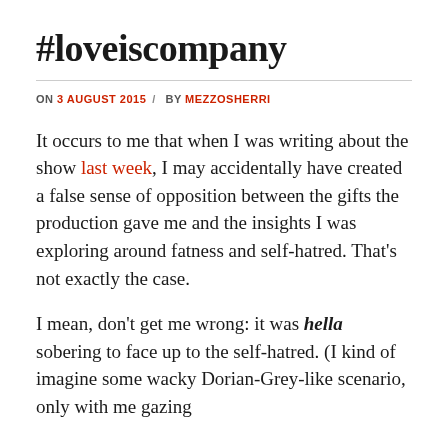#loveiscompany
ON 3 AUGUST 2015 / BY MEZZOSHERRI
It occurs to me that when I was writing about the show last week, I may accidentally have created a false sense of opposition between the gifts the production gave me and the insights I was exploring around fatness and self-hatred. That's not exactly the case.
I mean, don't get me wrong: it was hella sobering to face up to the self-hatred. (I kind of imagine some wacky Dorian-Grey-like scenario, only with me gazing